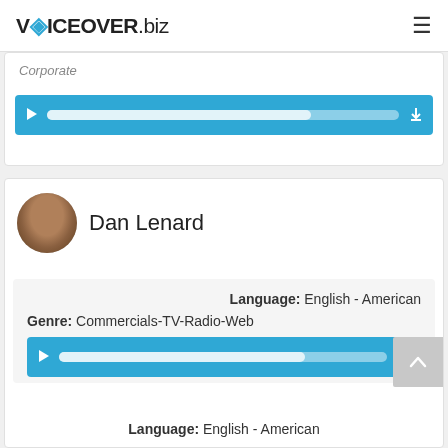VOICEOVER.biz
Corporate
[Figure (other): Audio player bar with play button, progress bar, and download button on blue background]
Dan Lenard
Language: English - American
Genre: Commercials-TV-Radio-Web
[Figure (other): Audio player bar with play button, progress bar, and download button on blue background]
Language: English - American